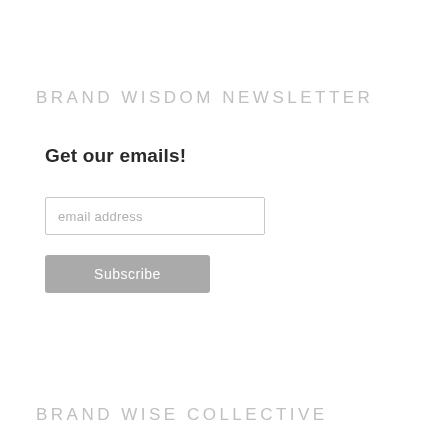BRAND WISDOM NEWSLETTER
Get our emails!
email address
Subscribe
BRAND WISE COLLECTIVE